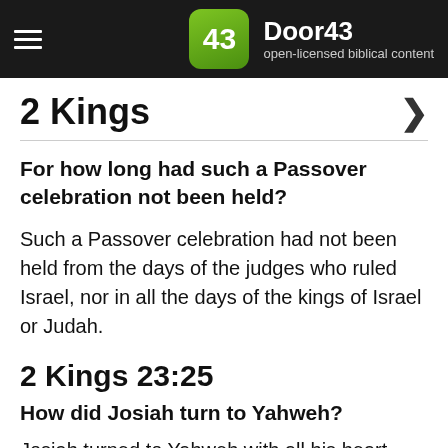Door43 — open-licensed biblical content
2 Kings
For how long had such a Passover celebration not been held?
Such a Passover celebration had not been held from the days of the judges who ruled Israel, nor in all the days of the kings of Israel or Judah.
2 Kings 23:25
How did Josiah turn to Yahweh?
Josiah turned to Yahweh with all his heart